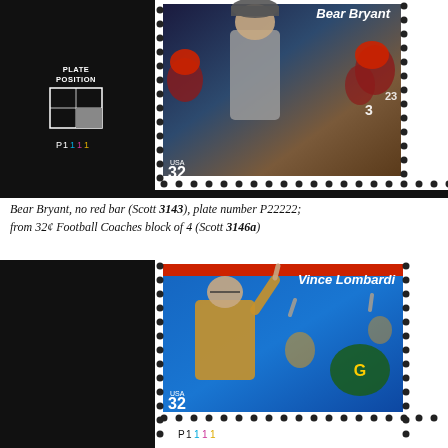[Figure (photo): Bear Bryant USA 32-cent stamp with plate position diagram and plate number P1111, shown as a corner block with perforations. White margin on left with 'PLATE POSITION' label and 2x2 grid diagram. Plate number P1111 in colored digits below.]
Bear Bryant, no red bar (Scott 3143), plate number P22222; from 32¢ Football Coaches block of 4 (Scott 3146a)
[Figure (photo): Vince Lombardi USA 32-cent stamp shown as corner block with perforations. Red bar at top of stamp. Plate number P1111 in colored digits below stamp.]